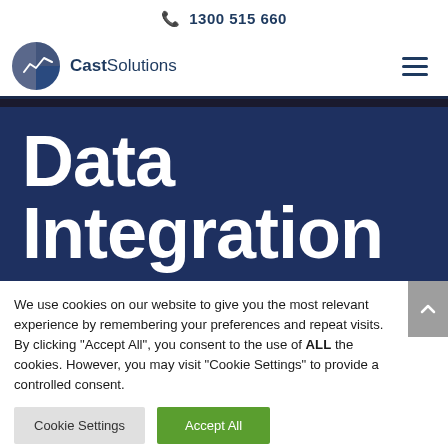1300 515 660
[Figure (logo): CastSolutions logo with pie-chart icon and company name]
Data Integration
We use cookies on our website to give you the most relevant experience by remembering your preferences and repeat visits. By clicking “Accept All”, you consent to the use of ALL the cookies. However, you may visit “Cookie Settings” to provide a controlled consent.
Cookie Settings  Accept All